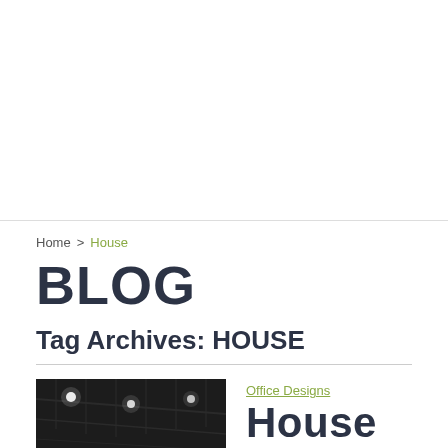[Figure (other): Advertisement or blank area at top of page]
Home > House
BLOG
Tag Archives: HOUSE
[Figure (photo): Dark interior photo showing ceiling with lights and industrial elements]
Office Designs
House